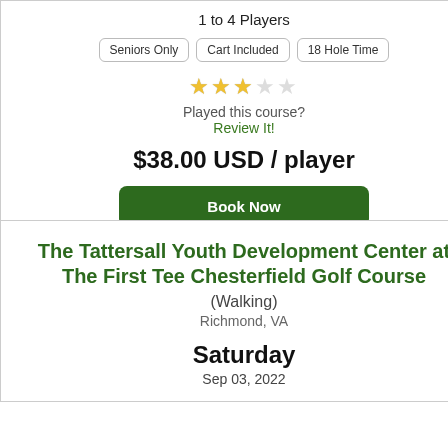1 to 4 Players
Seniors Only
Cart Included
18 Hole Time
[Figure (other): 3 filled stars and 2 empty stars rating]
Played this course?
Review It!
$38.00 USD / player
Book Now
The Tattersall Youth Development Center at The First Tee Chesterfield Golf Course
(Walking)
Richmond, VA
Saturday
Sep 03, 2022